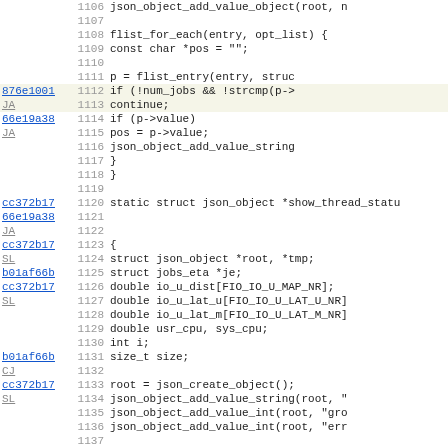Source code view with git blame annotations, lines 1106-1138, showing C code for json_object and show_thread_status functions.